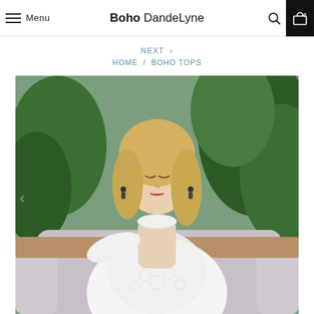Menu | Boho DandeLyne | Search | Cart 0
NEXT >
HOME / BOHO TOPS
[Figure (photo): Woman wearing a white lace boho top with long sleeves and high neck, sitting on a grey couch with tropical plants in background, hand raised to face, blonde hair, dangling earrings.]